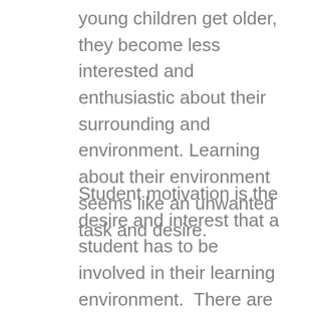young children get older, they become less interested and enthusiastic about their surrounding and environment. Learning about their environment seems like an unwanted task and desire.
Student motivation is the desire and interest that a student has to be involved in their learning environment.  There are reasons that affect student motivation. For example, an intrinsically motivated student looks at the learning activity as an enjoyable process and gets great